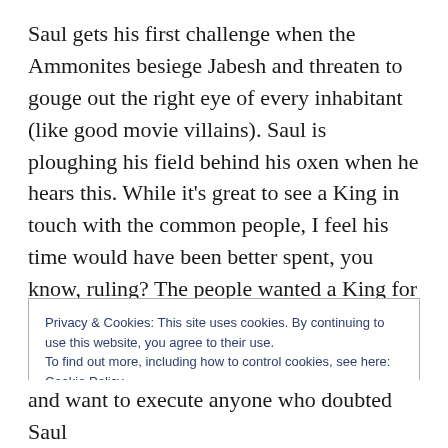Saul gets his first challenge when the Ammonites besiege Jabesh and threaten to gouge out the right eye of every inhabitant (like good movie villains). Saul is ploughing his field behind his oxen when he hears this. While it’s great to see a King in touch with the common people, I feel his time would have been better spent, you know, ruling? The people wanted a King for a reason. So Saul raises an army (by threatening to cut up his
Privacy & Cookies: This site uses cookies. By continuing to use this website, you agree to their use.
To find out more, including how to control cookies, see here:
Cookie Policy
and want to execute anyone who doubted Saul